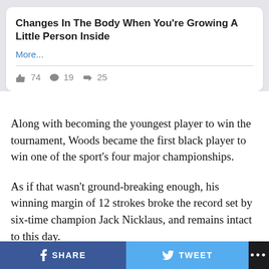Changes In The Body When You're Growing A Little Person Inside
More...
👍 74  💬 19  ➤ 25
Along with becoming the youngest player to win the tournament, Woods became the first black player to win one of the sport's four major championships.
As if that wasn't ground-breaking enough, his winning margin of 12 strokes broke the record set by six-time champion Jack Nicklaus, and remains intact to this day.
Meanwhile, his 72-hole score of 18-under remained the
SHARE  TWEET  ...